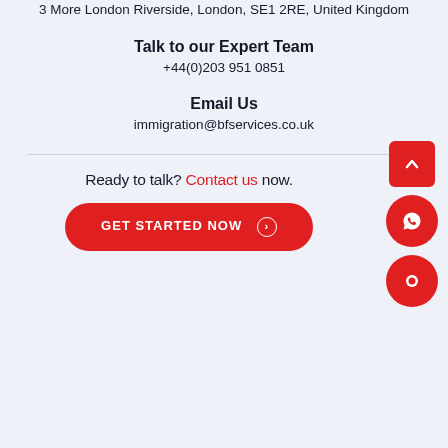3 More London Riverside, London, SE1 2RE, United Kingdom
Talk to our Expert Team
+44(0)203 951 0851
Email Us
immigration@bfservices.co.uk
Ready to talk? Contact us now.
GET STARTED NOW